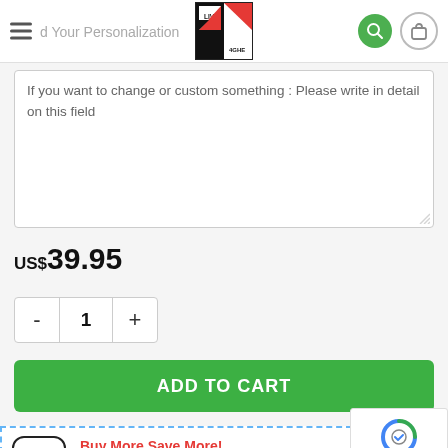Add Your Personalization
[Figure (logo): Live 4GHE brand logo with black and red geometric design]
If you want to change or custom something : Please write in detail on this field
US$39.95
- 1 +
ADD TO CART
Buy More Save More!
It's time to give thanks for all the little things.